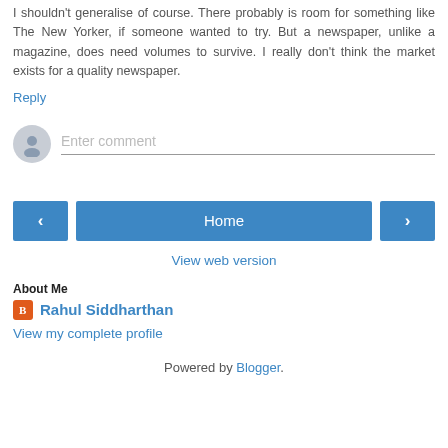I shouldn't generalise of course. There probably is room for something like The New Yorker, if someone wanted to try. But a newspaper, unlike a magazine, does need volumes to survive. I really don't think the market exists for a quality newspaper.
Reply
[Figure (other): Comment input area with user avatar (grey circle with silhouette) and 'Enter comment' placeholder text with underline]
[Figure (other): Navigation buttons: left arrow, Home center button, right arrow — blue buttons]
View web version
About Me
Rahul Siddharthan
View my complete profile
Powered by Blogger.